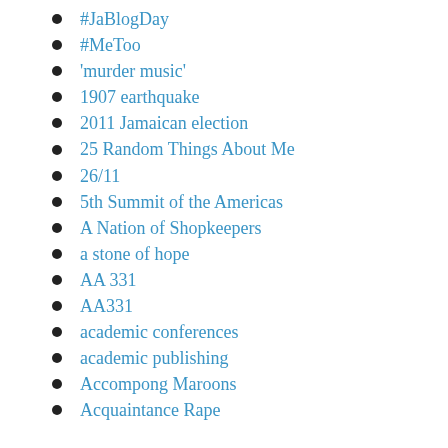#JaBlogDay
#MeToo
'murder music'
1907 earthquake
2011 Jamaican election
25 Random Things About Me
26/11
5th Summit of the Americas
A Nation of Shopkeepers
a stone of hope
AA 331
AA331
academic conferences
academic publishing
Accompong Maroons
Acquaintance Rape